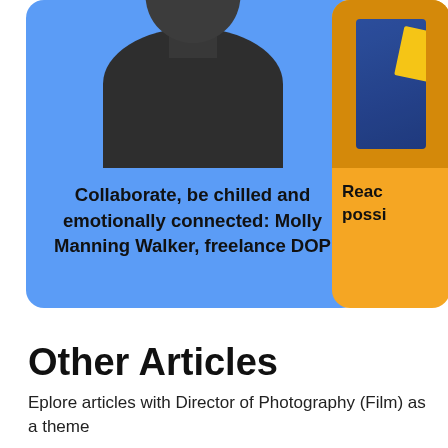[Figure (illustration): Blue card with a stylized black-and-white portrait of a person (head and shoulders), with the text 'Collaborate, be chilled and emotionally connected: Molly Manning Walker, freelance DOP']
Collaborate, be chilled and emotionally connected: Molly Manning Walker, freelance DOP
[Figure (photo): Partially visible orange card on the right with a photo and partially visible text 'Reac... possi...']
Reac possi
Other Articles
Eplore articles with Director of Photography (Film) as a theme